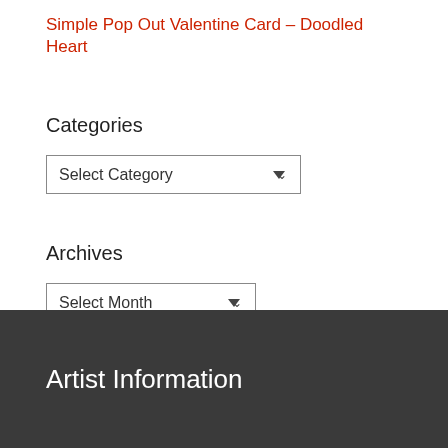Simple Pop Out Valentine Card – Doodled Heart
Categories
[Figure (screenshot): Dropdown select box with label 'Select Category' and a chevron arrow on the right]
Archives
[Figure (screenshot): Dropdown select box with label 'Select Month' and a chevron arrow on the right]
Artist Information